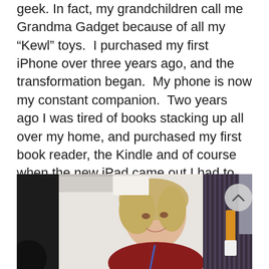geek. In fact, my grandchildren call me Grandma Gadget because of all my “Kewl” toys. I purchased my first iPhone over three years ago, and the transformation began. My phone is now my constant companion. Two years ago I was tired of books stacking up all over my home, and purchased my first book reader, the Kindle and of course when the new iPad came out I had to have that as well. Just recently I purchase the new 4G iPhone. Suddenly I feel like I can tackle anything because I have the power of the entire universe in my hands.
[Figure (photo): A woman with short blonde-grey hair wearing a dark red top and a lanyard smiles at the camera. She appears to be at an event or conference. Behind her is a person wearing a black and white striped jacket also with a lanyard. The background shows conference/event equipment.]